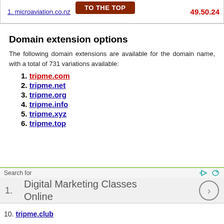1. microaviation.co.nz
49.50.24
Domain extension options
The following domain extensions are available for the domain name, with a total of 731 variations available:
1. tripme.com
2. tripme.net
3. tripme.org
4. tripme.info
5. tripme.xyz
6. tripme.top
Search for
1. Digital Marketing Classes Online
10. tripme.club